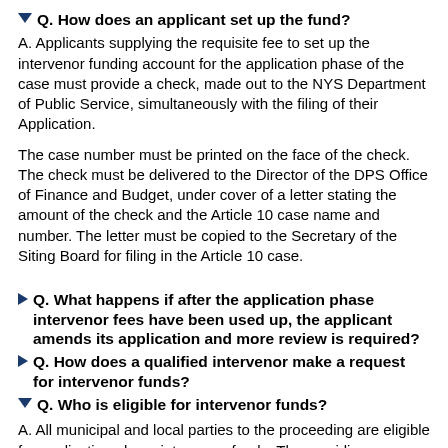Q. How does an applicant set up the fund?
A. Applicants supplying the requisite fee to set up the intervenor funding account for the application phase of the case must provide a check, made out to the NYS Department of Public Service, simultaneously with the filing of their Application.
The case number must be printed on the face of the check. The check must be delivered to the Director of the DPS Office of Finance and Budget, under cover of a letter stating the amount of the check and the Article 10 case name and number. The letter must be copied to the Secretary of the Siting Board for filing in the Article 10 case.
Q. What happens if after the application phase intervenor fees have been used up, the applicant amends its application and more review is required?
Q. How does a qualified intervenor make a request for intervenor funds?
Q. Who is eligible for intervenor funds?
A. All municipal and local parties to the proceeding are eligible for application phase intervenor funds. The presiding examiner shall reserve at least 50% of the application phase funds for potential awards to municipalities.